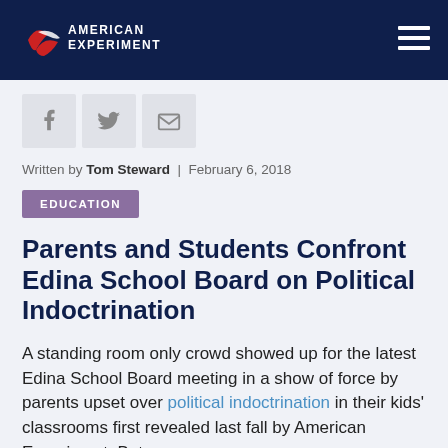American Experiment
Written by Tom Steward | February 6, 2018
EDUCATION
Parents and Students Confront Edina School Board on Political Indoctrination
A standing room only crowd showed up for the latest Edina School Board meeting in a show of force by parents upset over political indoctrination in their kids' classrooms first revealed last fall by American Experiment. But a